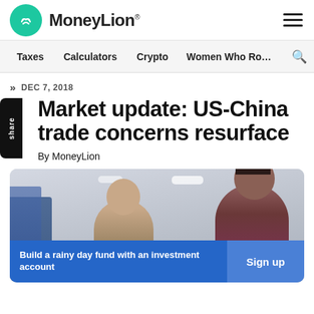MoneyLion
Taxes | Calculators | Crypto | Women Who Ro…
DEC 7, 2018
Market update: US-China trade concerns resurface
By MoneyLion
[Figure (photo): Two people, a woman and a man, looking at something together in an office or store setting. Promotional banner overlay reading 'Build a rainy day fund with an investment account' with a 'Sign up' button.]